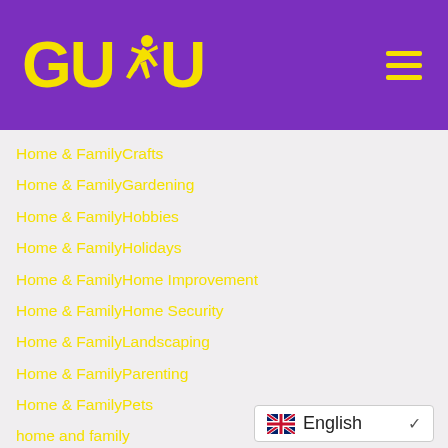[Figure (logo): GUDU logo with yellow text and a running figure silhouette on purple background, with hamburger menu icon]
Home & FamilyCrafts
Home & FamilyGardening
Home & FamilyHobbies
Home & FamilyHolidays
Home & FamilyHome Improvement
Home & FamilyHome Security
Home & FamilyLandscaping
Home & FamilyParenting
Home & FamilyPets
home and family
home and family, health and fitness, aromatherapy, crafts hobbies, alternative, pregnancy, massage
home based business
[Figure (other): Language selector widget showing UK flag and 'English' with dropdown chevron]